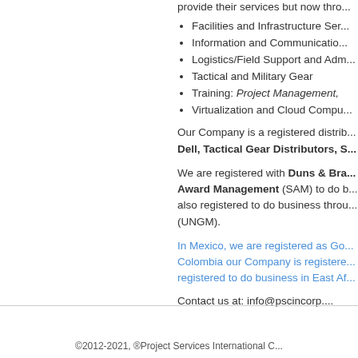provide their services but now thro...
Facilities and Infrastructure Ser...
Information and Communicatio...
Logistics/Field Support and Adm...
Tactical and Military Gear
Training: Project Management,...
Virtualization and Cloud Compu...
Our Company is a registered distrib... Dell, Tactical Gear Distributors, S...
We are registered with Duns & Bra... Award Management (SAM) to do b... also registered to do business throu... (UNGM).
In Mexico, we are registered as Go... Colombia our Company is registere... registered to do business in East Af...
Contact us at: info@pscincorp....
©2012-2021, ®Project Services International C...